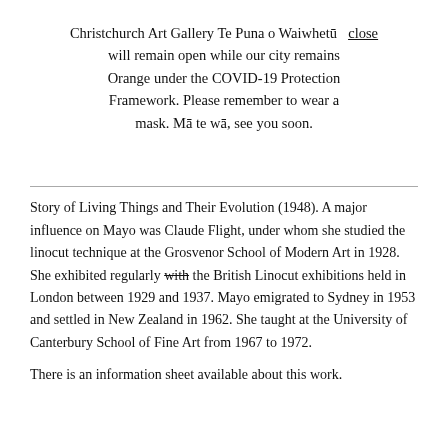Christchurch Art Gallery Te Puna o Waiwhetū   close
will remain open while our city remains
Orange under the COVID-19 Protection
Framework. Please remember to wear a
mask. Mā te wā, see you soon.
Story of Living Things and Their Evolution (1948). A major influence on Mayo was Claude Flight, under whom she studied the linocut technique at the Grosvenor School of Modern Art in 1928. She exhibited regularly with the British Linocut exhibitions held in London between 1929 and 1937. Mayo emigrated to Sydney in 1953 and settled in New Zealand in 1962. She taught at the University of Canterbury School of Fine Art from 1967 to 1972.

There is an information sheet available about this work.
Exhibition